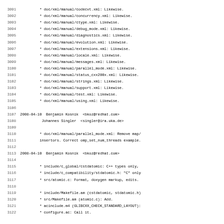3091      * doc/xml/manual/codecvt.xml: Likewise.
3092      * doc/xml/manual/concurrency.xml: Likewise.
3093      * doc/xml/manual/ctype.xml: Likewise.
3094      * doc/xml/manual/debug_mode.xml: Likewise.
3095      * doc/xml/manual/diagnostics.xml: Likewise.
3096      * doc/xml/manual/evolution.xml: Likewise.
3097      * doc/xml/manual/extensions.xml: Likewise.
3098      * doc/xml/manual/locale.xml: Likewise.
3099      * doc/xml/manual/messages.xml: Likewise.
3100      * doc/xml/manual/parallel_mode.xml: Likewise.
3101      * doc/xml/manual/status_cxx200x.xml: Likewise.
3102      * doc/xml/manual/strings.xml: Likewise.
3103      * doc/xml/manual/support.xml: Likewise.
3104      * doc/xml/manual/test.xml: Likewise.
3105      * doc/xml/manual/using.xml: Likewise.
3106
3107 2008-04-10  Benjamin Kosnik  <bkoz@redhat.com>
3108           Johannes Singler  <singler@ira.uka.de>
3109
3110      * doc/xml/manual/parallel_mode.xml: Remove map/
3111      insertors. Correct omp_set_num_threads example.
3112
3113 2008-04-10  Benjamin Kosnik  <bkoz@redhat.com>
3114
3115      * include/c_global/cstdatomic: C++ types only,
3116      * include/c_compatibility/stdatomic.h: "C" only
3117      * src/atomic.c: Format, doxygen markup, edits.
3118
3119      * include/Makefile.am (cstdatomic, stdatomic.h)
3120      * src/Makefile.am (atomic.c): Add.
3121      * acinclude.m4 (GLIBCXX_CHECK_STANDARD_LAYOUT):
3122      * configure.ac: Call it.